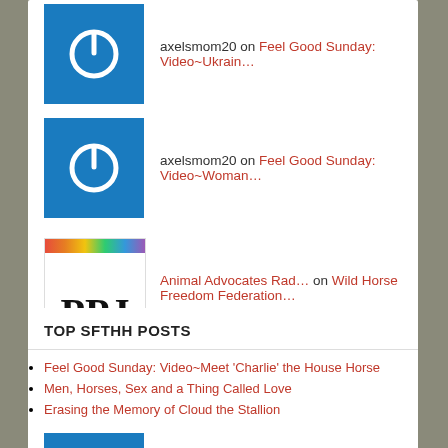axelsmom20 on Feel Good Sunday: Video~Ukrain...
axelsmom20 on Feel Good Sunday: Video~Woman...
Animal Advocates Rad... on Wild Horse Freedom Federation...
axelsmom20 on Feel Good Sunday: Video~Woman...
TOP SFTHH POSTS
Feel Good Sunday: Video~Meet 'Charlie' the House Horse
Men, Horses, Sex and a Thing Called Love
Erasing the Memory of Cloud the Stallion